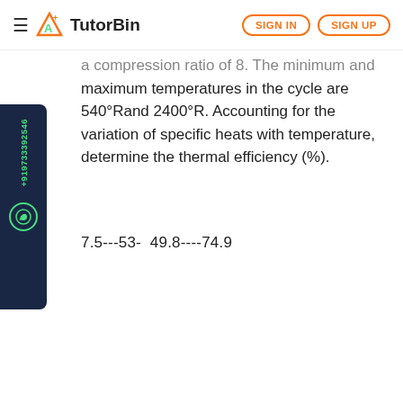TutorBin — SIGN IN | SIGN UP
a compression ratio of 8. The minimum and maximum temperatures in the cycle are 540°R and 2400°R. Accounting for the variation of specific heats with temperature, determine the thermal efficiency (%).
7.5---53- 49.8----74.9